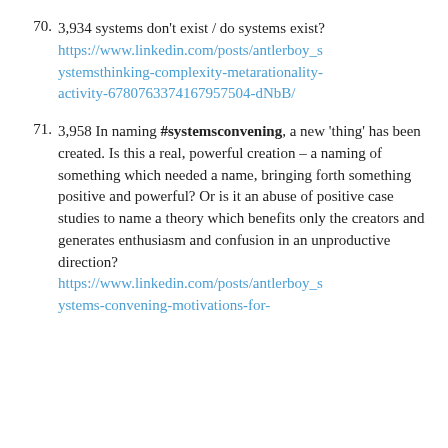70. 3,934 systems don't exist / do systems exist? https://www.linkedin.com/posts/antlerboy_systemsthinking-complexity-metarationality-activity-6780763374167957504-dNbB/
71. 3,958 In naming #systemsconvening, a new 'thing' has been created. Is this a real, powerful creation – a naming of something which needed a name, bringing forth something positive and powerful? Or is it an abuse of positive case studies to name a theory which benefits only the creators and generates enthusiasm and confusion in an unproductive direction? https://www.linkedin.com/posts/antlerboy_systems-convening-motivations-for-